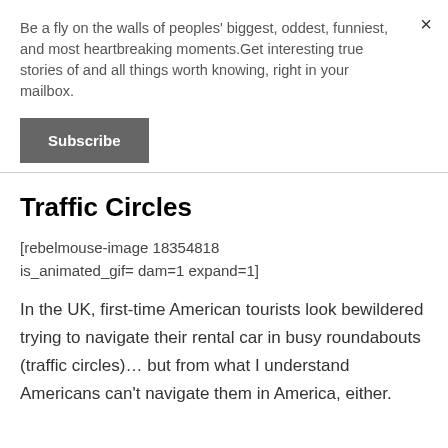Be a fly on the walls of peoples' biggest, oddest, funniest, and most heartbreaking moments.Get interesting true stories of and all things worth knowing, right in your mailbox.
Subscribe
Traffic Circles
[rebelmouse-image 18354818 is_animated_gif= dam=1 expand=1]
In the UK, first-time American tourists look bewildered trying to navigate their rental car in busy roundabouts (traffic circles)… but from what I understand Americans can't navigate them in America, either.